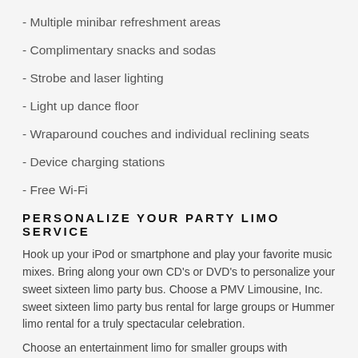- Multiple minibar refreshment areas
- Complimentary snacks and sodas
- Strobe and laser lighting
- Light up dance floor
- Wraparound couches and individual reclining seats
- Device charging stations
- Free Wi-Fi
PERSONALIZE YOUR PARTY LIMO SERVICE
Hook up your iPod or smartphone and play your favorite music mixes. Bring along your own CD's or DVD's to personalize your sweet sixteen limo party bus. Choose a PMV Limousine, Inc. sweet sixteen limo party bus rental for large groups or Hummer limo rental for a truly spectacular celebration.
Choose an entertainment limo for smaller groups with a spectacular...